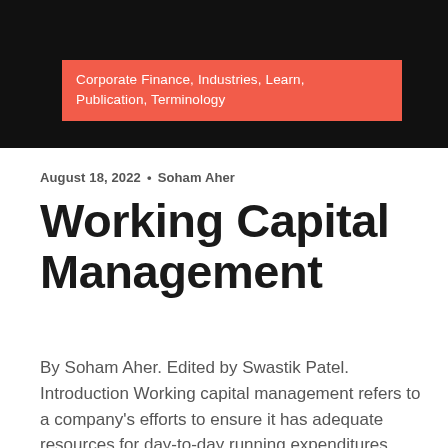[Figure (other): Black hero banner image at top of page with a coral/red-orange tag box overlay]
Corporate Finance, Industries, Learn, Publication, Terminology
August 18, 2022 • Soham Aher
Working Capital Management
By Soham Aher. Edited by Swastik Patel. Introduction Working capital management refers to a company's efforts to ensure it has adequate resources for day-to-day running expenditures while maintaining resources